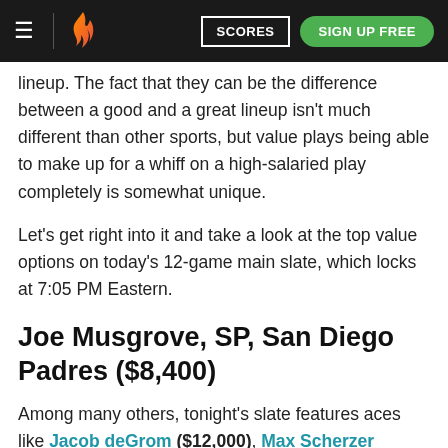≡ | [flame logo] SCORES SIGN UP FREE
lineup. The fact that they can be the difference between a good and a great lineup isn't much different than other sports, but value plays being able to make up for a whiff on a high-salaried play completely is somewhat unique.
Let's get right into it and take a look at the top value options on today's 12-game main slate, which locks at 7:05 PM Eastern.
Joe Musgrove, SP, San Diego Padres ($8,400)
Among many others, tonight's slate features aces like Jacob deGrom ($12,000), Max Scherzer ($11,000), and Corbin Burnes ($10,200), but it's Joe Musgrove who might just be the best bang for your buck.